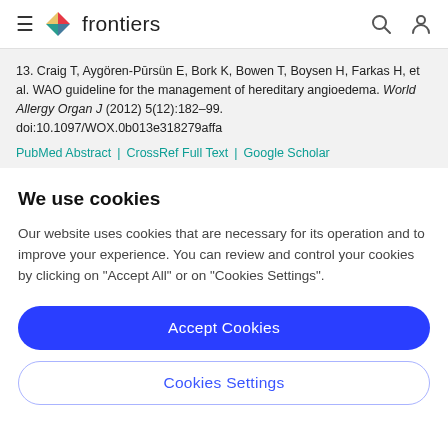frontiers [navigation bar with hamburger menu, logo, search and user icons]
13. Craig T, Aygören-Pūrsün E, Bork K, Bowen T, Boysen H, Farkas H, et al. WAO guideline for the management of hereditary angioedema. World Allergy Organ J (2012) 5(12):182–99. doi:10.1097/WOX.0b013e318279affa
PubMed Abstract | CrossRef Full Text | Google Scholar
We use cookies
Our website uses cookies that are necessary for its operation and to improve your experience. You can review and control your cookies by clicking on "Accept All" or on "Cookies Settings".
Accept Cookies
Cookies Settings